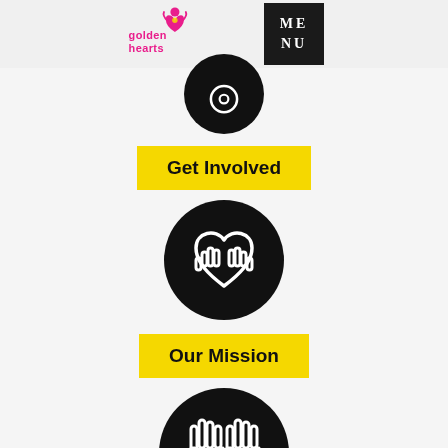[Figure (logo): Golden Hearts logo with pink/magenta heart icon and text 'golden hearts' in pink]
[Figure (other): Black square menu button with white text 'ME NU']
[Figure (illustration): Black circle with white icon showing two hands shaking/clasped (top, partially cropped)]
Get Involved
[Figure (illustration): Black circle with white handshake heart icon for 'Get Involved']
Our Mission
[Figure (illustration): Black circle with white two-hands open/giving icon for 'Our Mission']